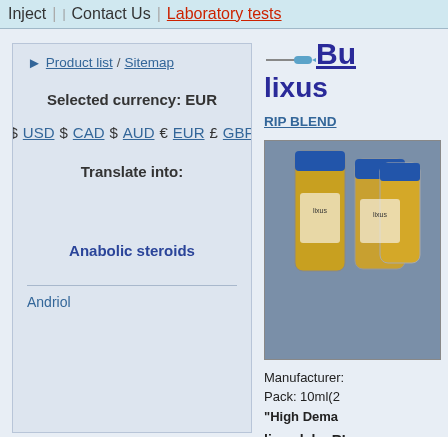Inject | Contact Us | Laboratory tests
Product list / Sitemap
Selected currency: EUR
$ USD $ CAD $ AUD € EUR £ GBP
Translate into:
Anabolic steroids
Andriol
Bu lixus
RIP BLEND
[Figure (photo): Product photo of lixus labs vials with yellow/amber liquid and blue caps]
Manufacturer: Pack: 10ml(2 "High Dema
lixus labs RI